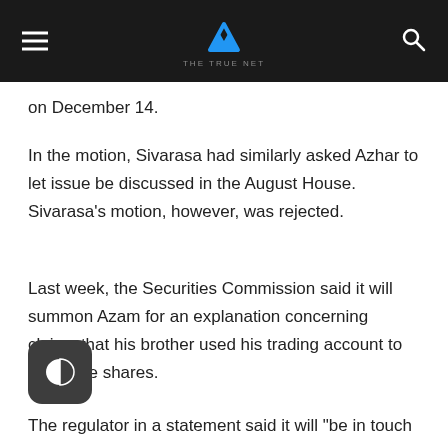THE TRUE NET
on December 14.
In the motion, Sivarasa had similarly asked Azhar to let issue be discussed in the August House. Sivarasa’s motion, however, was rejected.
Last week, the Securities Commission said it will summon Azam for an explanation concerning claims that his brother used his trading account to purchase shares.
The regulator in a statement said it will “be in touch